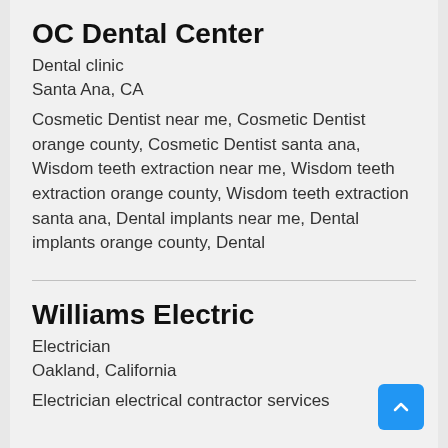OC Dental Center
Dental clinic
Santa Ana, CA
Cosmetic Dentist near me, Cosmetic Dentist orange county, Cosmetic Dentist santa ana, Wisdom teeth extraction near me, Wisdom teeth extraction orange county, Wisdom teeth extraction santa ana, Dental implants near me, Dental implants orange county, Dental
Williams Electric
Electrician
Oakland, California
Electrician electrical contractor services